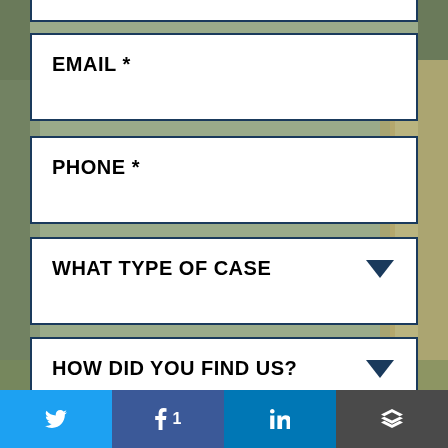EMAIL *
PHONE *
WHAT TYPE OF CASE
HOW DID YOU FIND US?
Twitter share button
Facebook share button with count 1
LinkedIn share button
Buffer share button